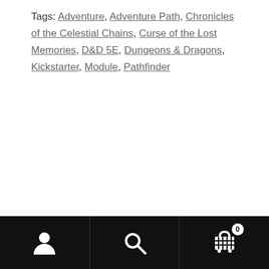Tags: Adventure, Adventure Path, Chronicles of the Celestial Chains, Curse of the Lost Memories, D&D 5E, Dungeons & Dragons, Kickstarter, Module, Pathfinder
Navigation bar with user, search, and cart (0) icons